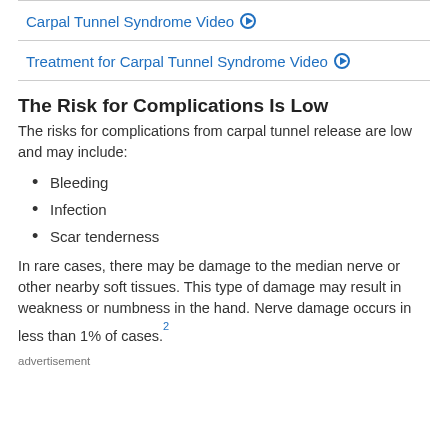Carpal Tunnel Syndrome Video ▶
Treatment for Carpal Tunnel Syndrome Video ▶
The Risk for Complications Is Low
The risks for complications from carpal tunnel release are low and may include:
Bleeding
Infection
Scar tenderness
In rare cases, there may be damage to the median nerve or other nearby soft tissues. This type of damage may result in weakness or numbness in the hand. Nerve damage occurs in less than 1% of cases.2
advertisement